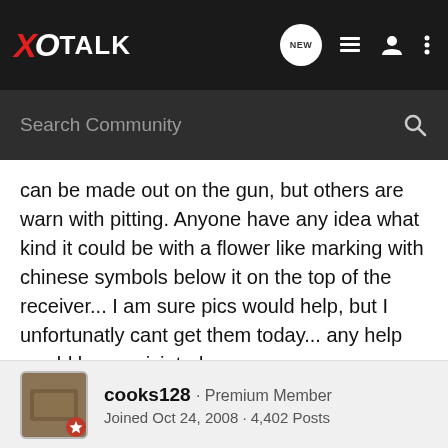XO TALK
can be made out on the gun, but others are warn with pitting. Anyone have any idea what kind it could be with a flower like marking with chinese symbols below it on the top of the receiver... I am sure pics would help, but I unfortunatly cant get them today... any help would be appriciated
ΜΟλωΝ λΑΒΈ
Dustin.
cooks128 · Premium Member
Joined Oct 24, 2008 · 4,402 Posts